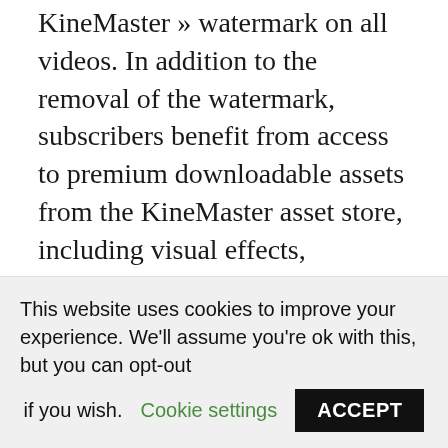KineMaster » watermark on all videos. In addition to the removal of the watermark, subscribers benefit from access to premium downloadable assets from the KineMaster asset store, including visual effects, overlays, professional high-quality royalty-free music, and more, with new assets added regularly. Join the mobile video editing revolution! Appli ac plusieurs fonctionnalités avancées avec un résultat de montage intéressant. VideoShow – Éditeur de vidéo.
Un enregistreur d'écran gratuit sans racine qui
This website uses cookies to improve your experience. We'll assume you're ok with this, but you can opt-out if you wish. Cookie settings ACCEPT